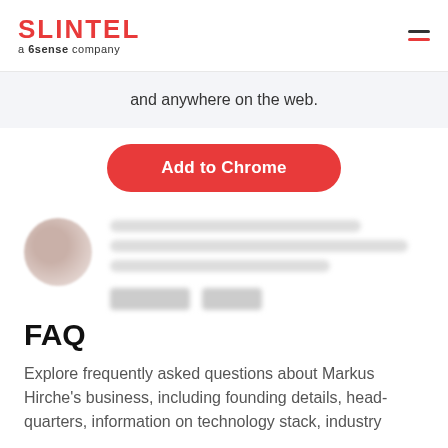SLINTEL a 6sense company
and anywhere on the web.
Add to Chrome
[Figure (other): Blurred profile card with avatar and redacted details including name, description, and action buttons]
FAQ
Explore frequently asked questions about Markus Hirche's business, including founding details, headquarters, information on technology stack, industry